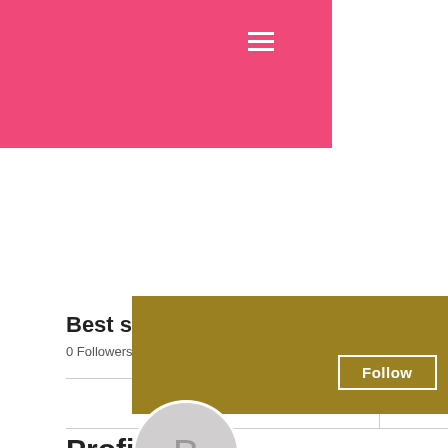[Figure (screenshot): Pink banner header with hamburger menu icon]
[Figure (screenshot): Olive/gold colored profile banner with Follow button and three-dot menu]
[Figure (illustration): Circular avatar with letter B on gray background]
Best sarms for fat loss, liqui...
0 Followers • 0 Following
Profile